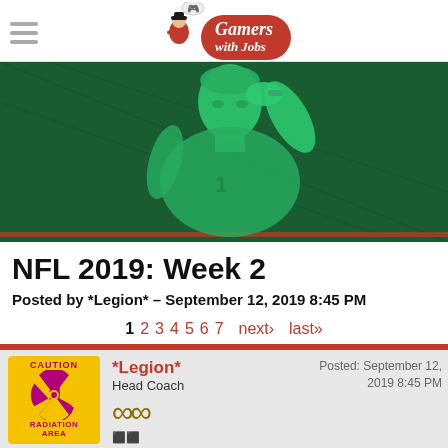Gamers with Jobs
[Figure (photo): Hero banner image of a football player (green-tinted) with hand to head on dark green background, associated with NFL 2019 Week 2 article]
NFL 2019: Week 2
Posted by *Legion* – September 12, 2019 8:45 PM
1  2  3  4  5  6  7  next›  last»
*Legion*
Head Coach
Posted: September 12, 2019 8:45 PM
You thought I was going to make this post entirely about Gardner Minshew